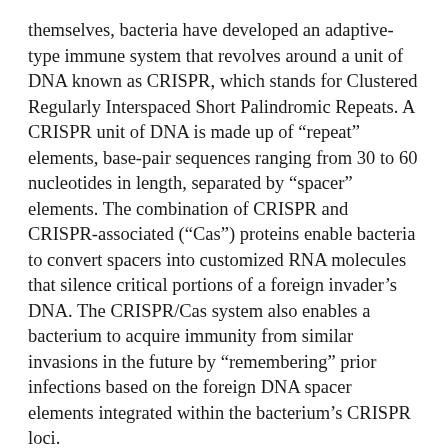themselves, bacteria have developed an adaptive-type immune system that revolves around a unit of DNA known as CRISPR, which stands for Clustered Regularly Interspaced Short Palindromic Repeats. A CRISPR unit of DNA is made up of “repeat” elements, base-pair sequences ranging from 30 to 60 nucleotides in length, separated by “spacer” elements. The combination of CRISPR and CRISPR-associated (“Cas”) proteins enable bacteria to convert spacers into customized RNA molecules that silence critical portions of a foreign invader’s DNA. The CRISPR/Cas system also enables a bacterium to acquire immunity from similar invasions in the future by “Remembering” prior infections based on the foreign DNA spacer elements integrated within the bacterium’s CRISPR loci.
Using macromolecular crystallography Beamline 8.3.1 at the ALS, a Berkeley research group studied x-ray crystal structures of CRISPR-associated Cas1 and Cas2 enzymes